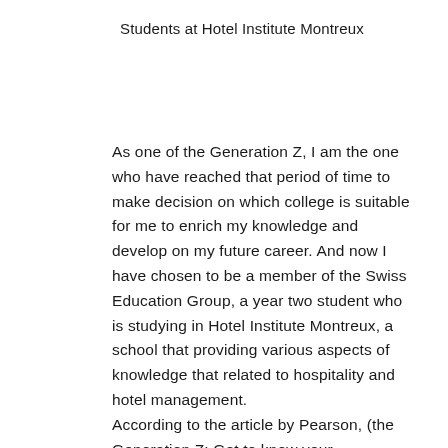Students at Hotel Institute Montreux
As one of the Generation Z, I am the one who have reached that period of time to make decision on which college is suitable for me to enrich my knowledge and develop on my future career. And now I have chosen to be a member of the Swiss Education Group, a year two student who is studying in Hotel Institute Montreux, a school that providing various aspects of knowledge that related to hospitality and hotel management. According to the article by Pearson, (the Generation Z: Get to know your